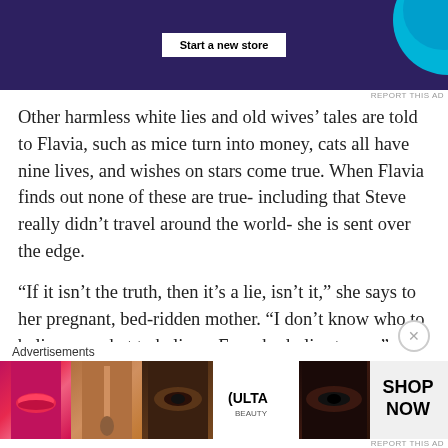[Figure (screenshot): Top advertisement banner with dark purple background, 'Start a new store' button, and cyan/blue circular graphic on the right]
REPORT THIS AD
Other harmless white lies and old wives’ tales are told to Flavia, such as mice turn into money, cats all have nine lives, and wishes on stars come true. When Flavia finds out none of these are true- including that Steve really didn’t travel around the world- she is sent over the edge.
“If it isn’t the truth, then it’s a lie, isn’t it,” she says to her pregnant, bed-ridden mother. “I don’t know who to believe or what to believe. Everybody lies to me.”
In a Margaret O’Brien moment of hysterics complete with
Advertisements
[Figure (screenshot): Bottom advertisement banner for ULTA beauty showing makeup product images (lips, brush, eye, ULTA logo, eye close-up) with SHOP NOW text on the right]